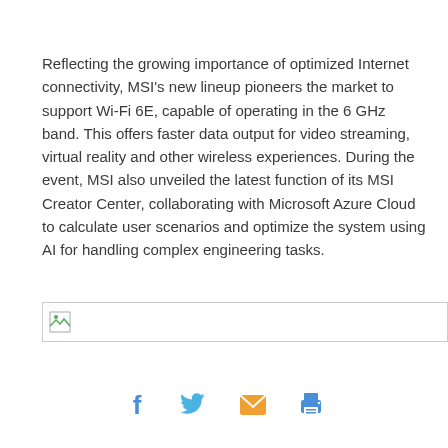Reflecting the growing importance of optimized Internet connectivity, MSI's new lineup pioneers the market to support Wi-Fi 6E, capable of operating in the 6 GHz band. This offers faster data output for video streaming, virtual reality and other wireless experiences. During the event, MSI also unveiled the latest function of its MSI Creator Center, collaborating with Microsoft Azure Cloud to calculate user scenarios and optimize the system using AI for handling complex engineering tasks.
[Figure (other): Broken/loading image placeholder with green icon]
[Figure (infographic): Social share icons: Facebook (blue f), Twitter (blue bird), Email (orange envelope), Print (blue printer)]